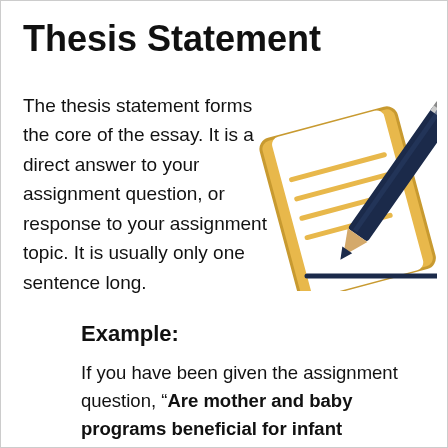Thesis Statement
The thesis statement forms the core of the essay. It is a direct answer to your assignment question, or response to your assignment topic. It is usually only one sentence long.
[Figure (illustration): Illustration of a notepad with ruled lines and a pencil/pen overlaid, in gold/yellow and dark navy blue colors.]
Example:
If you have been given the assignment question, "Are mother and baby programs beneficial for infant development?" your thesis statement could begin:
“Mother and baby programs are